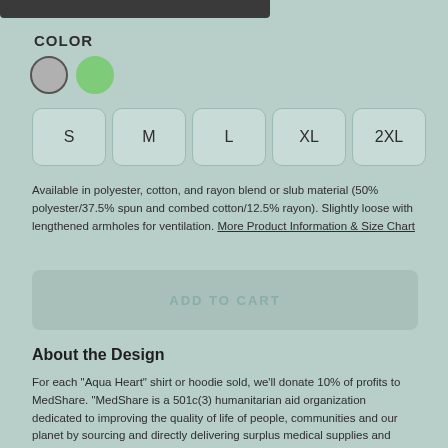COLOR
[Figure (other): Two color swatches: gray (outlined) and green (filled)]
[Figure (other): Size selector buttons: S, M, L, XL, 2XL]
Available in polyester, cotton, and rayon blend or slub material (50% polyester/37.5% spun and combed cotton/12.5% rayon). Slightly loose with lengthened armholes for ventilation. More Product Information & Size Chart
[Figure (other): ADD TO CART button]
About the Design
For each "Aqua Heart" shirt or hoodie sold, we'll donate 10% of profits to MedShare. "MedShare is a 501c(3) humanitarian aid organization dedicated to improving the quality of life of people, communities and our planet by sourcing and directly delivering surplus medical supplies and equipment to